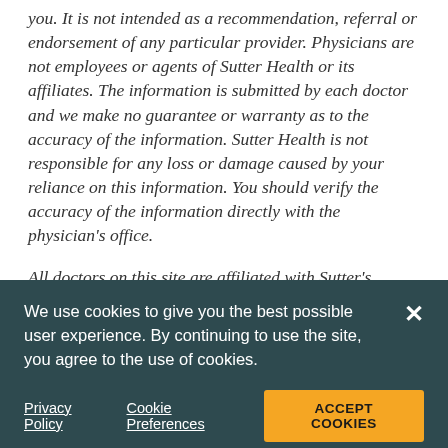you. It is not intended as a recommendation, referral or endorsement of any particular provider. Physicians are not employees or agents of Sutter Health or its affiliates. The information is submitted by each doctor and we make no guarantee or warranty as to the accuracy of the information. Sutter Health is not responsible for any loss or damage caused by your reliance on this information. You should verify the accuracy of the information directly with the physician's office.
All doctors on this site are affiliated with Sutter's network of care - members of the medical staff of Sutter-affiliated hospitals, affiliated medical groups, and independent practice associations that participate in clinical initiatives. Doctors do not pay a fee to be included
We use cookies to give you the best possible user experience. By continuing to use the site, you agree to the use of cookies.
Privacy Policy   Cookie Preferences   ACCEPT COOKIES